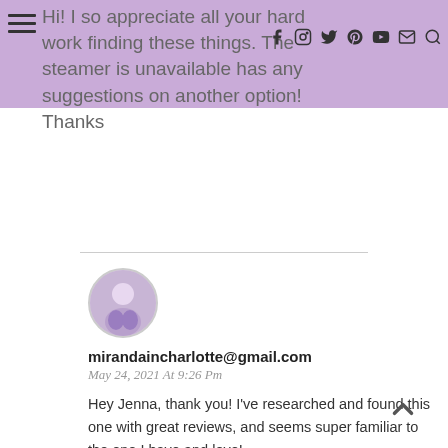Hi! I so appreciate all your hard work finding these things. The steamer is unavailable has any suggestions on another option! Thanks
mirandaincharlotte@gmail.com
May 24, 2021 At 9:26 Pm
Hey Jenna, thank you! I've researched and found this one with great reviews, and seems super familiar to the one I have and love!
https://amzn.to/34ejnNy